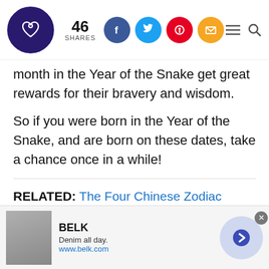46 SHARES [social icons: Facebook, Twitter, Pinterest, Email] [hamburger menu] [search]
month in the Year of the Snake get great rewards for their bravery and wisdom.
So if you were born in the Year of the Snake, and are born on these dates, take a chance once in a while!
RELATED: The Four Chinese Zodiac Signs Who'll Have the Worst Luck This Lunar New Year
[Figure (other): Advertisement banner for BELK: Denim all day. www.belk.com with product image and navigation arrow]